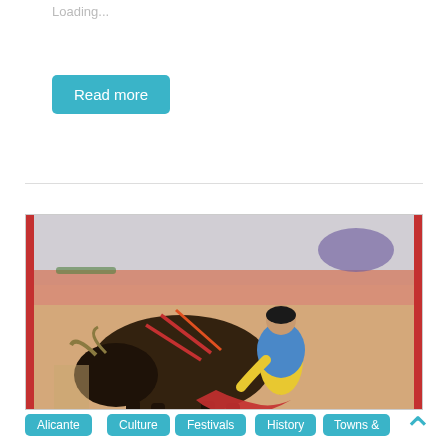Loading...
Read more
[Figure (illustration): Vintage illustration of a bullfighter in gold and blue costume engaging a dark bull in an arena, with spears/banderillas in the bull's back. Arena crowd visible in background. Red cape at bottom.]
Alicante
Culture
Festivals
History
Towns &
Cities
Valencia
Alicante Bullfighting Museum